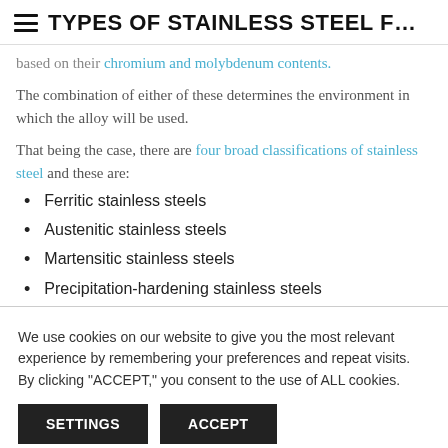≡  TYPES OF STAINLESS STEEL F…
based on their chromium and molybdenum contents.
The combination of either of these determines the environment in which the alloy will be used.
That being the case, there are four broad classifications of stainless steel and these are:
Ferritic stainless steels
Austenitic stainless steels
Martensitic stainless steels
Precipitation-hardening stainless steels
We use cookies on our website to give you the most relevant experience by remembering your preferences and repeat visits. By clicking "ACCEPT," you consent to the use of ALL cookies.